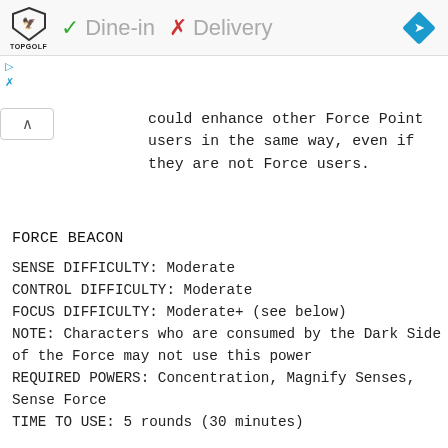✓ Dine-in  ✗ Delivery
could enhance other Force Point users in the same way, even if they are not Force users.
FORCE BEACON
SENSE DIFFICULTY: Moderate
CONTROL DIFFICULTY: Moderate
FOCUS DIFFICULTY: Moderate+ (see below)
NOTE: Characters who are consumed by the Dark Side of the Force may not use this power
REQUIRED POWERS: Concentration, Magnify Senses, Sense Force
TIME TO USE: 5 rounds (30 minutes)